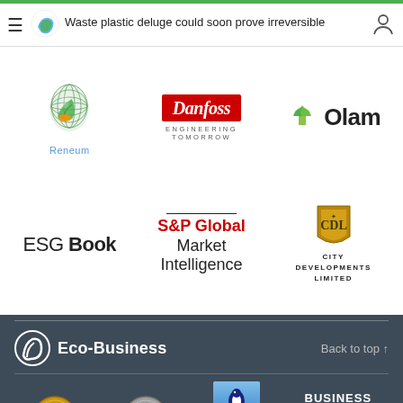Waste plastic deluge could soon prove irreversible
[Figure (logo): Reneum logo - green circular grid leaf shape with orange accent]
[Figure (logo): Danfoss logo - red rectangle with white italic script text 'Danfoss' and 'ENGINEERING TOMORROW' below]
[Figure (logo): Olam logo - green leaf/sprout icon with bold 'Olam' text]
[Figure (logo): ESG Book logo - text 'ESG Book' with bold 'Book']
[Figure (logo): S&P Global Market Intelligence logo - red 'S&P Global' text with 'Market Intelligence' below]
[Figure (logo): City Developments Limited logo - gold shield emblem with CDL monogram]
[Figure (logo): Eco-Business logo - white circular swirl icon with Eco-Business text]
Back to top ↑
[Figure (logo): Asian Digital Media Awards gold badge]
[Figure (logo): Asian Digital Media Awards silver badge]
[Figure (photo): Climate Neutral Company certification badge with penguin/bird icon]
[Figure (logo): Business for Good logo]
Climate Neutral Company